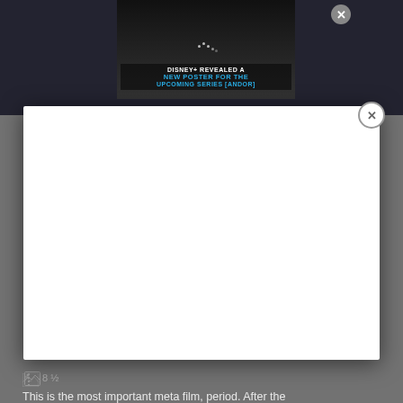[Figure (screenshot): Screenshot of a web page showing a Disney+ advertisement for the Andor series overlaid with a white modal popup and a close button. The ad reads 'DISNEY+ REVEALED A NEW POSTER FOR THE UPCOMING SERIES [ANDOR]'. Below the modal is a broken image icon labeled '8 ½' and partial body text beginning 'This is the most important meta film, period. After the']
8 ½
This is the most important meta film, period. After the